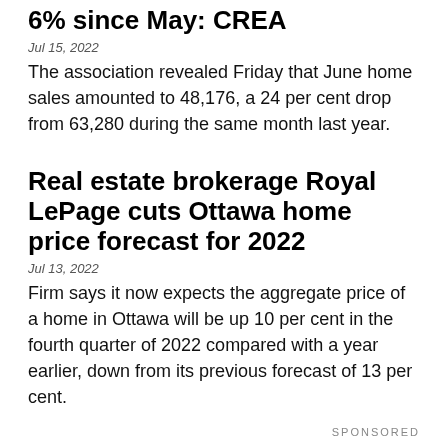6% since May: CREA
Jul 15, 2022
The association revealed Friday that June home sales amounted to 48,176, a 24 per cent drop from 63,280 during the same month last year.
Real estate brokerage Royal LePage cuts Ottawa home price forecast for 2022
Jul 13, 2022
Firm says it now expects the aggregate price of a home in Ottawa will be up 10 per cent in the fourth quarter of 2022 compared with a year earlier, down from its previous forecast of 13 per cent.
SPONSORED